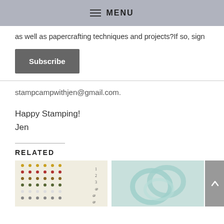MENU
as well as papercrafting techniques and projects?If so, sign
Subscribe
stampcampwithjen@gmail.com.
Happy Stamping!
Jen
Related
[Figure (photo): Grid of colorful dots/rhinestones on a white background]
[Figure (photo): Light teal/mint transparent ribbon loops on gray background]